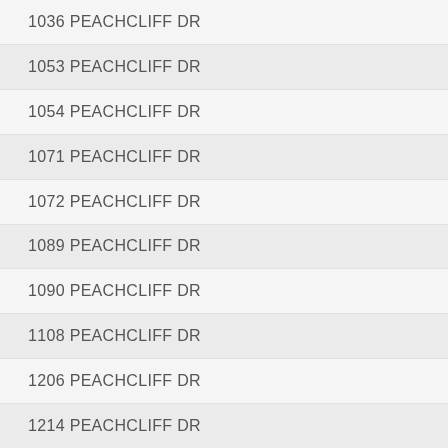1036 PEACHCLIFF DR
1053 PEACHCLIFF DR
1054 PEACHCLIFF DR
1071 PEACHCLIFF DR
1072 PEACHCLIFF DR
1089 PEACHCLIFF DR
1090 PEACHCLIFF DR
1108 PEACHCLIFF DR
1206 PEACHCLIFF DR
1214 PEACHCLIFF DR